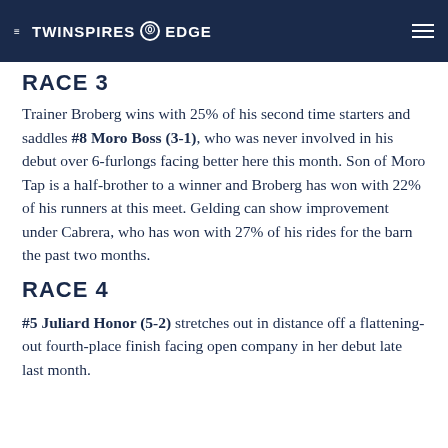THE TWINSPIRES EDGE
RACE 3 (partial)
Trainer Broberg wins with 25% of his second time starters and saddles #8 Moro Boss (3-1), who was never involved in his debut over 6-furlongs facing better here this month. Son of Moro Tap is a half-brother to a winner and Broberg has won with 22% of his runners at this meet. Gelding can show improvement under Cabrera, who has won with 27% of his rides for the barn the past two months.
RACE 4
#5 Juliard Honor (5-2) stretches out in distance off a flattening-out fourth-place finish facing open company in her debut late last month.